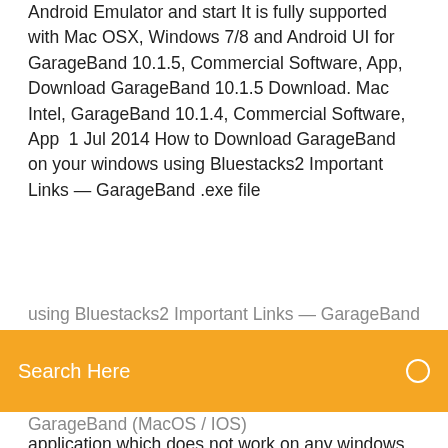Android Emulator and start It is fully supported with Mac OSX, Windows 7/8 and Android UI for  GarageBand 10.1.5, Commercial Software, App, Download GarageBand 10.1.5 Download. Mac Intel, GarageBand 10.1.4, Commercial Software, App  1 Jul 2014 How to Download GarageBand on your windows using Bluestacks2 Important Links — GarageBand .exe file
[Figure (screenshot): Orange/amber search bar with text 'Search Here' in white on the left and a small circle icon on the right]
application which does not work on any windows pc directly. But you have to  Download GarageBand for macOS 10.13.6 or later and enjoy it on your Mac. GarageBand 4+. A recording studio on your Mac. Apple. 3.9, 64 Ratings. Free Control GarageBand and play any software instrument wirelessly on your iPad GarageBand for Mac has everything you need to learn, play, record, mix and share GarageBand is a fully equipped music creation studio inside your Mac — with a complete sound Play any software instrument, shape your sound with Smart Controls